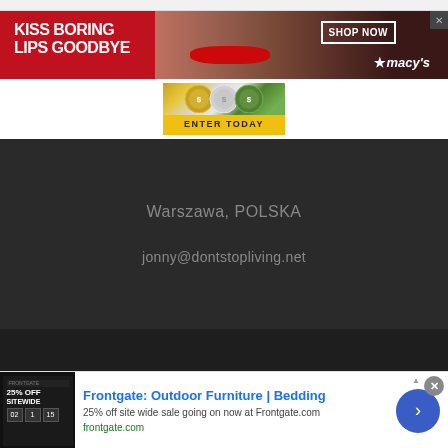[Figure (screenshot): Browser top bar (gray)]
[Figure (screenshot): Macy's advertisement banner: 'KISS BORING LIPS GOODBYE' with woman's face and red lips, SHOP NOW button, Macy's star logo. Red background with close X button.]
[Figure (screenshot): Casino chips 'ENTER TODAY' banner advertisement with colorful poker chips image and yellow text on purple background.]
Warszawa, POLSKA
jonny@dontstopliving.net
[Figure (screenshot): Frontgate: Outdoor Furniture | Bedding advertisement. 25% off site wide sale going on now at Frontgate.com. frontgate.com]
Frontgate: Outdoor Furniture | Bedding
25% off site wide sale going on now at Frontgate.com
frontgate.com